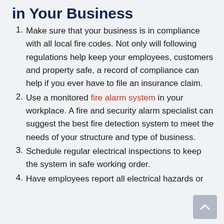in Your Business
Make sure that your business is in compliance with all local fire codes. Not only will following regulations help keep your employees, customers and property safe, a record of compliance can help if you ever have to file an insurance claim.
Use a monitored fire alarm system in your workplace. A fire and security alarm specialist can suggest the best fire detection system to meet the needs of your structure and type of business.
Schedule regular electrical inspections to keep the system in safe working order.
Have employees report all electrical hazards or ...